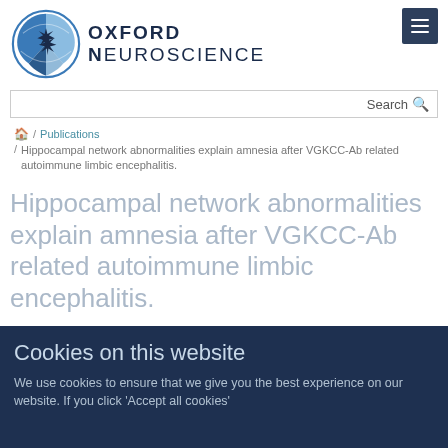[Figure (logo): Oxford Neuroscience circular logo with star/brain motif in blue tones, with text OXFORD NEUROSCIENCE]
Search
/ Publications / Hippocampal network abnormalities explain amnesia after VGKCC-Ab related autoimmune limbic encephalitis.
Hippocampal network abnormalities explain amnesia after VGKCC-Ab related autoimmune limbic encephalitis.
Cookies on this website
We use cookies to ensure that we give you the best experience on our website. If you click 'Accept all cookies'